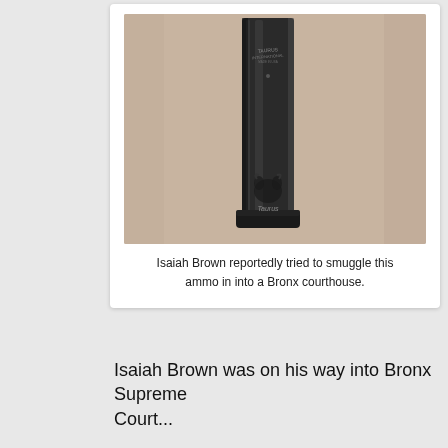[Figure (photo): A long, narrow black metal gun magazine (ammunition magazine) standing upright against a beige/tan surface. The magazine has some text/logo near the top and a bull logo near the bottom with text that appears to read 'Taurus'.]
Isaiah Brown reportedly tried to smuggle this ammo in into a Bronx courthouse.
Isaiah Brown was on his way into Bronx Supreme Court...